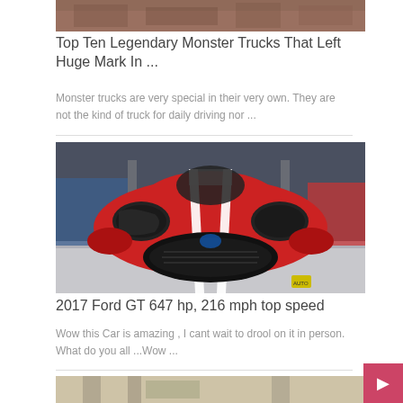[Figure (photo): Partial image of monster trucks at the top of the page]
Top Ten Legendary Monster Trucks That Left Huge Mark In ...
Monster trucks are very special in their very own. They are not the kind of truck for daily driving nor ...
[Figure (photo): Front view of a red 2017 Ford GT sports car with white racing stripes at an auto show]
2017 Ford GT 647 hp, 216 mph top speed
Wow this Car is amazing , I cant wait to drool on it in person. What do you all ...Wow ...
[Figure (photo): Partial image of a building at the bottom of the page]